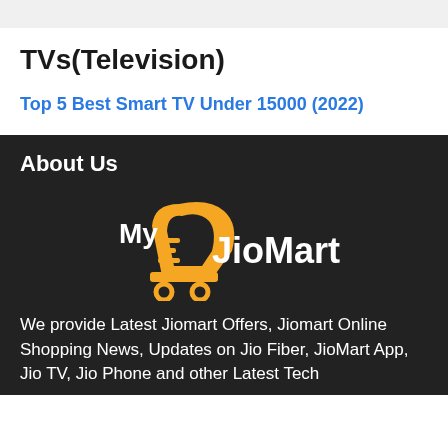TVs(Television)
Top 5 Best Smart TV Under 15000 (2022)
About Us
[Figure (logo): MyJioMart logo — orange shopping cart with white 'My' text and white 'JioMart' text on dark background]
We provide Latest Jiomart Offers, Jiomart Online Shopping News, Updates on Jio Fiber, JioMart App, Jio TV, Jio Phone and other Latest Tech